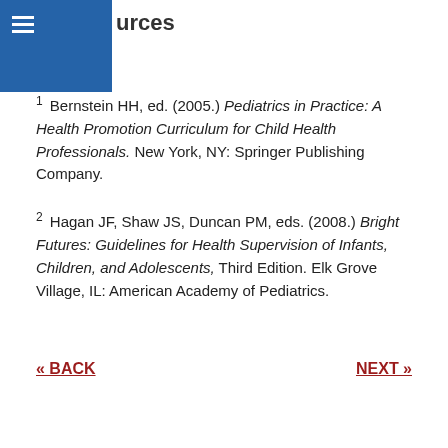urces
1 Bernstein HH, ed. (2005.) Pediatrics in Practice: A Health Promotion Curriculum for Child Health Professionals. New York, NY: Springer Publishing Company.
2 Hagan JF, Shaw JS, Duncan PM, eds. (2008.) Bright Futures: Guidelines for Health Supervision of Infants, Children, and Adolescents, Third Edition. Elk Grove Village, IL: American Academy of Pediatrics.
« BACK
NEXT »